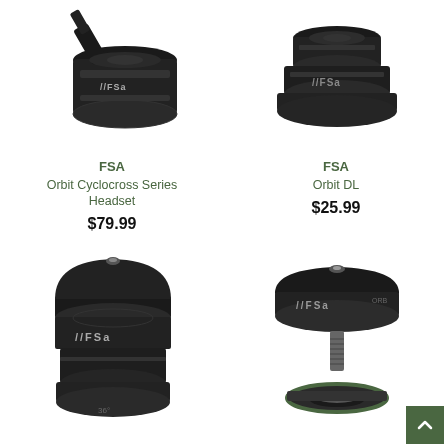[Figure (photo): FSA Orbit Cyclocross Series Headset product photo - black bicycle headset component with stem, top view]
FSA
Orbit Cyclocross Series Headset
$79.99
[Figure (photo): FSA Orbit DL product photo - black bicycle headset component, cylindrical stacked shape, top view]
FSA
Orbit DL
$25.99
[Figure (photo): FSA headset product photo - black round bicycle headset with FSA logo, bottom row left]
[Figure (photo): FSA headset component photo - black disc-shaped top cap with bolt and bearing ring, bottom row right]